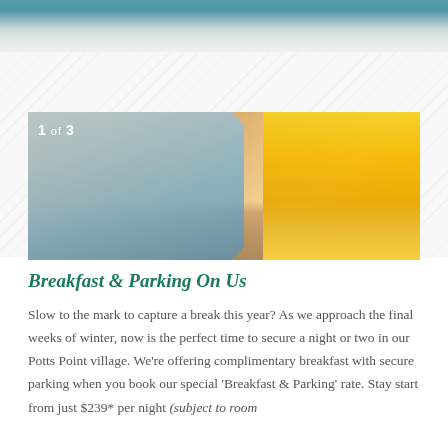[Figure (photo): Top banner image showing water/ocean scene with teal and light grey tones]
[Figure (photo): Photo of a smiling couple relaxing outdoors on cushioned chairs, with yellow umbrella in background. Badge reads '1 of 3']
Breakfast & Parking On Us
Slow to the mark to capture a break this year? As we approach the final weeks of winter, now is the perfect time to secure a night or two in our Potts Point village. We're offering complimentary breakfast with secure parking when you book our special 'Breakfast & Parking' rate. Stay start from just $239* per night (subject to room